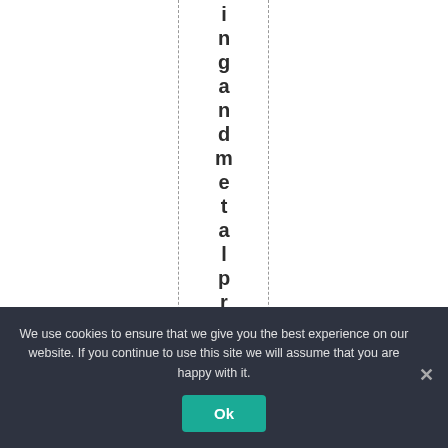ingandmetalproduct
We use cookies to ensure that we give you the best experience on our website. If you continue to use this site we will assume that you are happy with it.